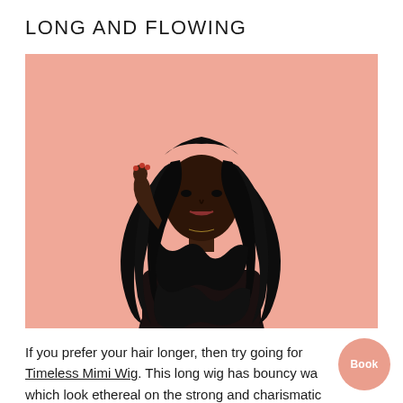LONG AND FLOWING
[Figure (photo): A Black woman with very long, flowing, wavy dark hair wearing a black outfit, posed against a salmon/peach pink background, with one hand raised near her shoulder.]
If you prefer your hair longer, then try going for Timeless Mimi Wig. This long wig has bouncy wa which look ethereal on the strong and charismatic